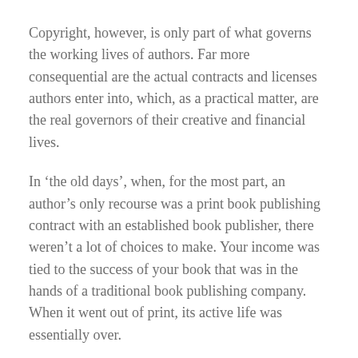Copyright, however, is only part of what governs the working lives of authors. Far more consequential are the actual contracts and licenses authors enter into, which, as a practical matter, are the real governors of their creative and financial lives.
In ‘the old days’, when, for the most part, an author’s only recourse was a print book publishing contract with an established book publisher, there weren’t a lot of choices to make. Your income was tied to the success of your book that was in the hands of a traditional book publishing company. When it went out of print, its active life was essentially over.
More choices emerged as authors and their agents